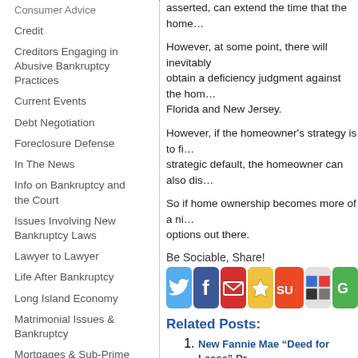Consumer Advice
Credit
Creditors Engaging in Abusive Bankruptcy Practices
Current Events
Debt Negotiation
Foreclosure Defense
In The News
Info on Bankruptcy and the Court
Issues Involving New Bankruptcy Laws
Lawyer to Lawyer
Life After Bankruptcy
Long Island Economy
Matrimonial Issues & Bankruptcy
Mortgages & Sub-Prime Mortgage Meltdown
Personal Injury and
asserted, can extend the time that the home...
However, at some point, there will inevitably obtain a deficiency judgment against the hom... Florida and New Jersey.
However, if the homeowner’s strategy is to fi... strategic default, the homeowner can also di...
So if home ownership becomes more of a ni... options out there.
Be Sociable, Share!
[Figure (infographic): Social sharing icons row: Twitter (blue bird), Facebook (blue f), Email (red envelope), Star (yellow), StumbleUpon (orange SU), Delicious (grey/blue squares), green icon (partially visible)]
Related Posts:
New Fannie Mae “Deed for Lease” Pr... But It May Not Be the Best Choice for...
Bankruptcy Can Provide Way Out of B...
Obama’s “Making Homes Affordable”...
What Happens to Your House If You F...
Be Sociable, Share!